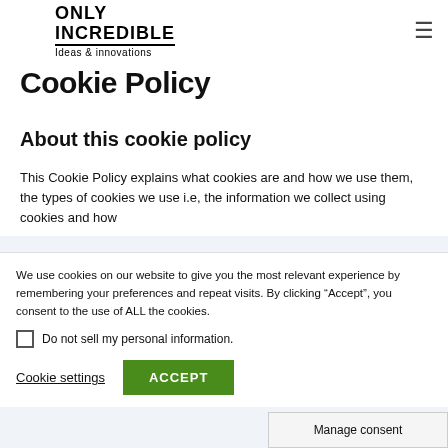ONLY INCREDIBLE Ideas & innovations
Cookie Policy
About this cookie policy
This Cookie Policy explains what cookies are and how we use them, the types of cookies we use i.e, the information we collect using cookies and how
We use cookies on our website to give you the most relevant experience by remembering your preferences and repeat visits. By clicking “Accept”, you consent to the use of ALL the cookies.
Do not sell my personal information.
Cookie settings
ACCEPT
Manage consent